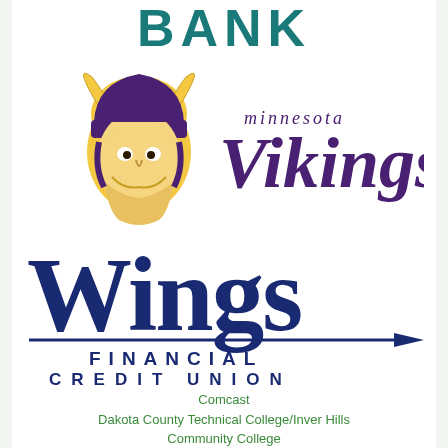[Figure (logo): BANK text logo in large bold dark teal/blue letters]
[Figure (logo): Minnesota Vikings NFL team logo with viking warrior helmet mascot in gold and purple, with 'Minnesota Vikings' text in purple]
[Figure (logo): Wings Financial Credit Union logo with large blue 'Wings' text, arrow, and 'FINANCIAL CREDIT UNION' underneath in blue capital letters]
Comcast
Dakota County Technical College/Inver Hills
Community College